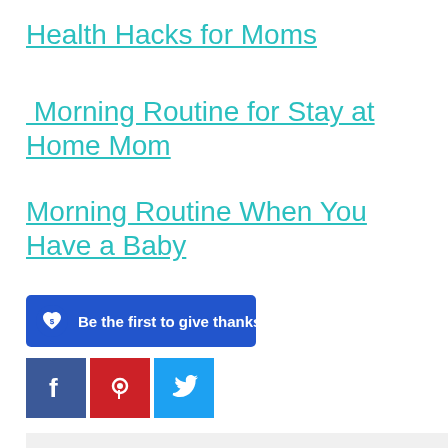Health Hacks for Moms
Morning Routine for Stay at Home Mom
Morning Routine When You Have a Baby
[Figure (other): Blue button with heart/dollar icon and text 'Be the first to give thanks']
[Figure (other): Social share buttons: Facebook (blue), Pinterest (red), Twitter (light blue)]